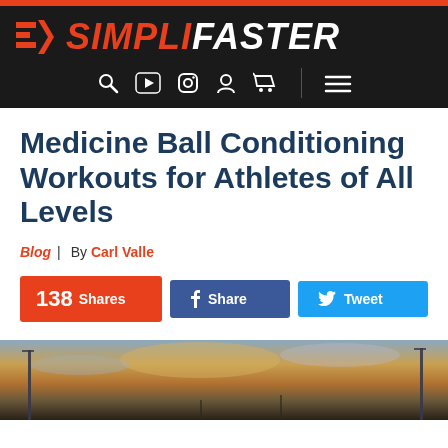[Figure (logo): SimpliFaster logo with orange SF icon and white/orange text on black navigation bar with social icons]
Medicine Ball Conditioning Workouts for Athletes of All Levels
Blog | By Carl Valle
138 Shares | Share | Tweet
[Figure (photo): Stadium field at sunset with dramatic cloudy sky and field lighting poles]